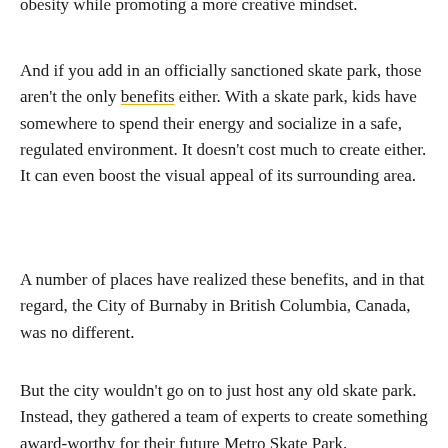obesity while promoting a more creative mindset.
And if you add in an officially sanctioned skate park, those aren't the only benefits either. With a skate park, kids have somewhere to spend their energy and socialize in a safe, regulated environment. It doesn't cost much to create either. It can even boost the visual appeal of its surrounding area.
A number of places have realized these benefits, and in that regard, the City of Burnaby in British Columbia, Canada, was no different.
But the city wouldn't go on to just host any old skate park. Instead, they gathered a team of experts to create something award-worthy for their future Metro Skate Park.